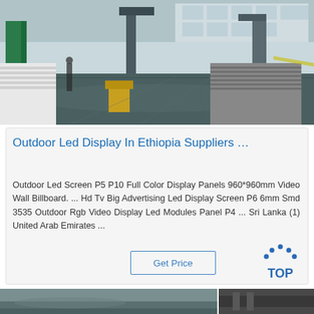[Figure (photo): Industrial warehouse interior with stacked metal panels/sheets, green structural columns, heavy machinery in background, concrete floor with reflections]
Outdoor Led Display In Ethiopia Suppliers …
Outdoor Led Screen P5 P10 Full Color Display Panels 960*960mm Video Wall Billboard. ... Hd Tv Big Advertising Led Display Screen P6 6mm Smd 3535 Outdoor Rgb Video Display Led Modules Panel P4 ... Sri Lanka (1) United Arab Emirates ...
Get Price
[Figure (logo): TOP badge logo with blue dots arranged in triangle above the word TOP in blue letters]
[Figure (photo): Bottom strip showing two partial photos: left shows industrial/outdoor scene, right shows dark metallic surface]